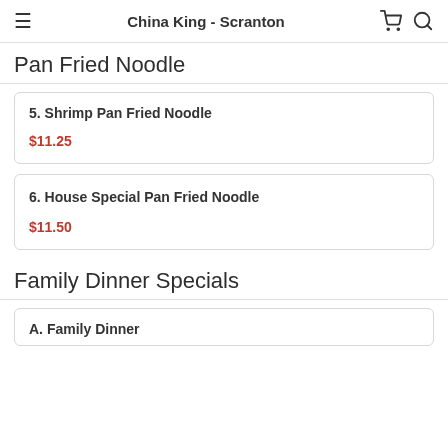China King - Scranton
Pan Fried Noodle
5. Shrimp Pan Fried Noodle — $11.25
6. House Special Pan Fried Noodle — $11.50
Family Dinner Specials
A. Family Dinner (partial)